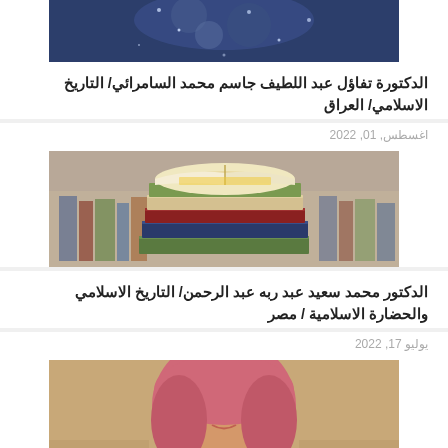[Figure (photo): Partial top image, possibly a person with decorative fabric, cropped at top of page]
الدكتورة تفاؤل عبد اللطيف جاسم محمد السامرائي/ التاريخ الاسلامي/ العراق
اغسطس, 01, 2022
[Figure (photo): Stack of books with an open book on top, in a library setting]
الدكتور محمد سعيد عبد ربه عبد الرحمن/ التاريخ الاسلامي والحضارة الاسلامية / مصر
يوليو 17, 2022
[Figure (photo): Woman wearing a pink hijab, portrait photo]